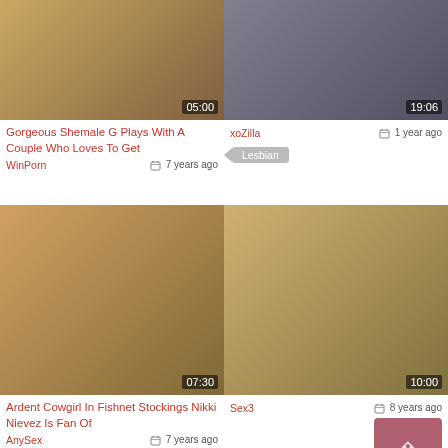[Figure (screenshot): Video thumbnail top-left with duration 05:00]
[Figure (screenshot): Video thumbnail top-right with duration 19:06]
Gorgeous Shemale G Plays With A Couple Who Loves To Get
xoZilla  1 year ago
WinPorn  7 years ago
Lesbian
[Figure (screenshot): Video thumbnail middle-left with duration 07:30]
[Figure (screenshot): Video thumbnail middle-right with duration 10:00]
Ardent Cowgirl In Fishnet Stockings Nikki Nievez Is Fan Of
Sex3  8 years ago
AnySex  7 years ago
[Figure (screenshot): Bottom strip of video thumbnails]